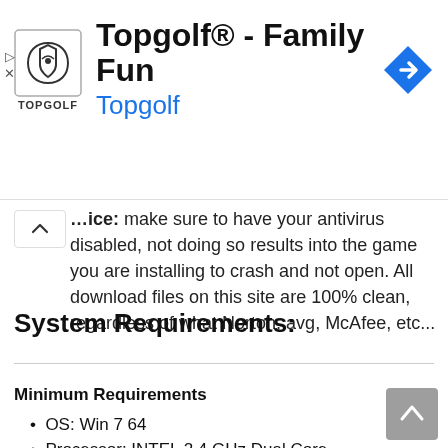[Figure (screenshot): Topgolf advertisement banner with logo, title 'Topgolf® - Family Fun', subtitle 'Topgolf' in blue, and a blue navigation arrow icon on the right.]
Notice: make sure to have your antivirus disabled, not doing so results into the game you are installing to crash and not open. All download files on this site are 100% clean, regardless of what Norton, avg, McAfee, etc...
System Requirements:
Minimum Requirements
OS: Win 7 64
Processor: INTEL 2.4 GHz Dual Core